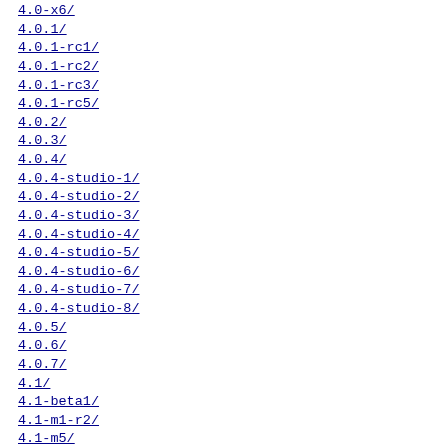4.0-x6/
4.0.1/
4.0.1-rc1/
4.0.1-rc2/
4.0.1-rc3/
4.0.1-rc5/
4.0.2/
4.0.3/
4.0.4/
4.0.4-studio-1/
4.0.4-studio-2/
4.0.4-studio-3/
4.0.4-studio-4/
4.0.4-studio-5/
4.0.4-studio-6/
4.0.4-studio-7/
4.0.4-studio-8/
4.0.5/
4.0.6/
4.0.7/
4.1/
4.1-beta1/
4.1-m1-r2/
4.1-m5/
4.1-m5-r2/
4.1-rc1/
4.1-rc2/
4.1-rc3/
4.1-scm-conversion-01/
4.1-scm-conversion-02/